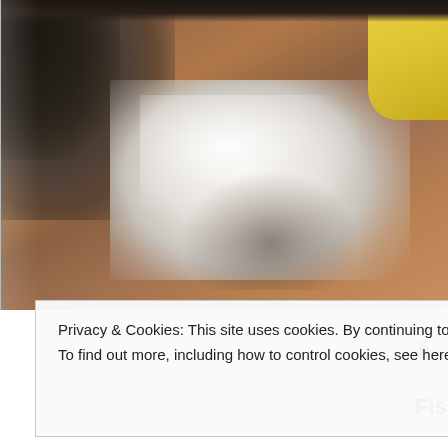[Figure (photo): Photo showing crumpled white paper/tissue on a wooden surface, with dark granite/stone visible in upper left, and a yellow object partially visible in the upper right corner. A dark strip appears at the very top of the image.]
Privacy & Cookies: This site uses cookies. By continuing to use this website, you agree to their use.
To find out more, including how to control cookies, see here: Cookie Policy
Close and accept